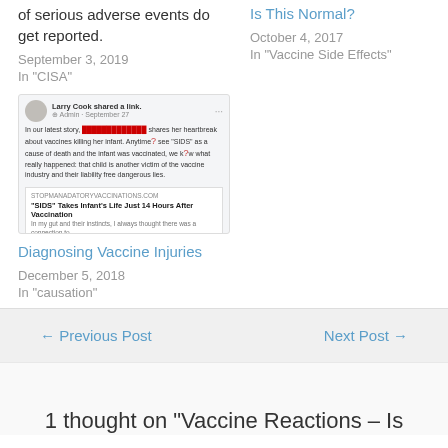of serious adverse events do get reported.
September 3, 2019
In "CISA"
Is This Normal?
October 4, 2017
In "Vaccine Side Effects"
[Figure (screenshot): Facebook post screenshot by Larry Cook sharing a link about SIDS vaccine injury story]
Diagnosing Vaccine Injuries
December 5, 2018
In "causation"
← Previous Post
Next Post →
1 thought on "Vaccine Reactions – Is